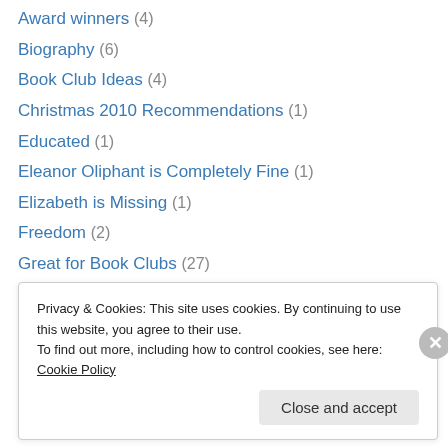Award winners (4)
Biography (6)
Book Club Ideas (4)
Christmas 2010 Recommendations (1)
Educated (1)
Eleanor Oliphant is Completely Fine (1)
Elizabeth is Missing (1)
Freedom (2)
Great for Book Clubs (27)
House Rules (1)
Instructions for a Heatwave (1)
Literary Academy (5)
Literary Fiction (14)
Privacy & Cookies: This site uses cookies. By continuing to use this website, you agree to their use. To find out more, including how to control cookies, see here: Cookie Policy
Close and accept